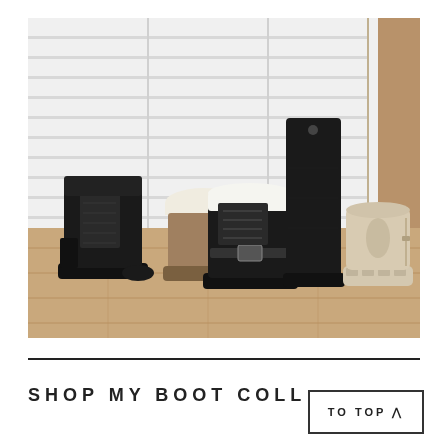[Figure (photo): Four pairs of boots arranged on a wooden floor against a white shiplap wall: black lace-up combat boot, beige/tan snow boot with sherpa lining, tall black suede boot, and beige/cream chelsea boot with lug sole.]
SHOP MY BOOT COLL
TO TOP ^